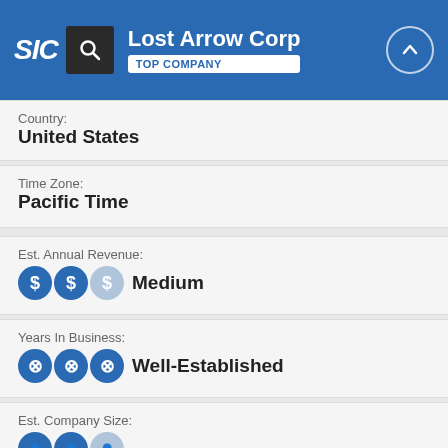SIC | Lost Arrow Corp | TOP COMPANY
Country:
United States
Time Zone:
Pacific Time
Est. Annual Revenue:
Medium
Years In Business:
Well-Established
Est. Company Size: